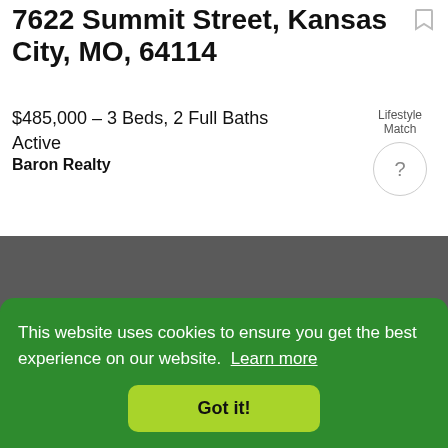7622 Summit Street, Kansas City, MO, 64114
$485,000 - 3 Beds, 2 Full Baths
Active
Baron Realty
Lifestyle Match ?
[Figure (photo): Dark gray photo placeholder area for property listing image]
This website uses cookies to ensure you get the best experience on our website. Learn more
Got it!